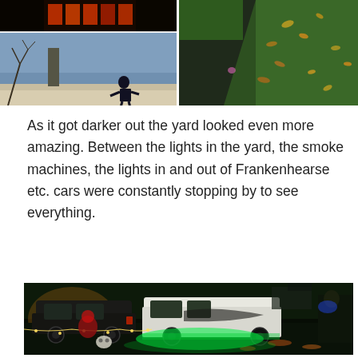[Figure (photo): Collage of three photos: top-left shows a dark scene with orange/red lights on a building facade at night; middle-left shows a person in dark costume standing on a rooftop against a blue-grey sky with bare trees; right shows an aerial/angled view of a green lawn with fallen autumn leaves and a dark driveway/path.]
As it got darker out the yard looked even more amazing. Between the lights in the yard, the smoke machines, the lights in and out of Frankenhearse etc. cars were constantly stopping by to see everything.
[Figure (photo): Nighttime photo of a yard/driveway scene showing a dark SUV and a white van (Frankenhearse) with bright green underglow lights, string lights, people in costumes, fallen autumn leaves on the ground, and houses in the background.]